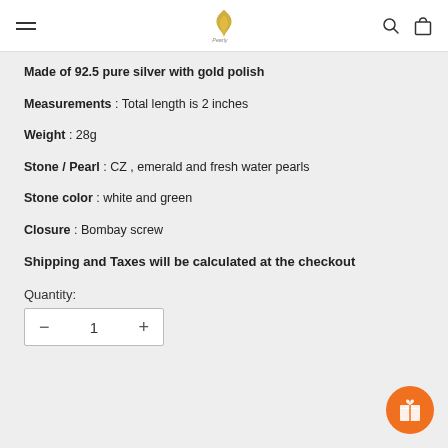Pearly by Silver
Made of 92.5 pure silver with gold polish
Measurements : Total length is 2 inches
Weight : 28g
Stone / Pearl : CZ , emerald and fresh water pearls
Stone color : white and green
Closure : Bombay screw
Shipping and Taxes will be calculated at the checkout
Quantity: